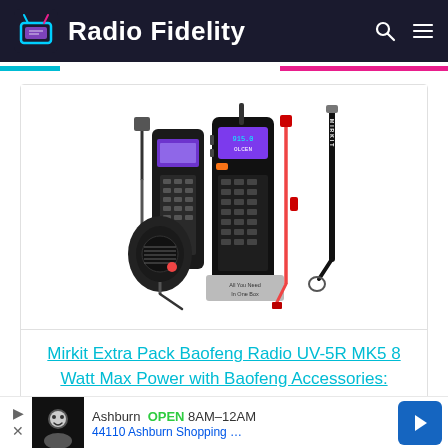Radio Fidelity
[Figure (photo): Mirkit Extra Pack Baofeng Radio UV-5R MK5 product bundle — handheld two-way radio with speaker microphone, USB programming cable, extended battery, lanyard, and a small box labeled 'All You Need In One Box']
Mirkit Extra Pack Baofeng Radio UV-5R MK5 8 Watt Max Power with Baofeng Accessories: Battery 3800…
Pric
Ashburn  OPEN  8AM–12AM  44110 Ashburn Shopping …